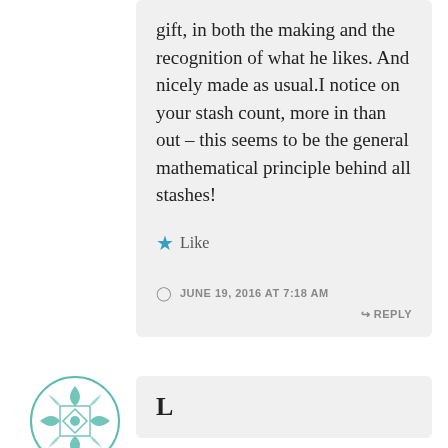gift, in both the making and the recognition of what he likes. And nicely made as usual.I notice on your stash count, more in than out – this seems to be the general mathematical principle behind all stashes!
Like
JUNE 19, 2016 AT 7:18 AM
↳ REPLY
L